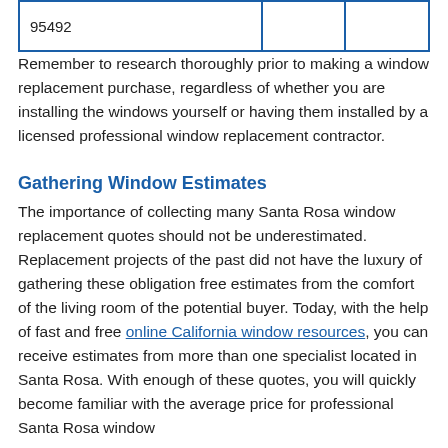| 95492 |  |  |
Remember to research thoroughly prior to making a window replacement purchase, regardless of whether you are installing the windows yourself or having them installed by a licensed professional window replacement contractor.
Gathering Window Estimates
The importance of collecting many Santa Rosa window replacement quotes should not be underestimated. Replacement projects of the past did not have the luxury of gathering these obligation free estimates from the comfort of the living room of the potential buyer. Today, with the help of fast and free online California window resources, you can receive estimates from more than one specialist located in Santa Rosa. With enough of these quotes, you will quickly become familiar with the average price for professional Santa Rosa window...